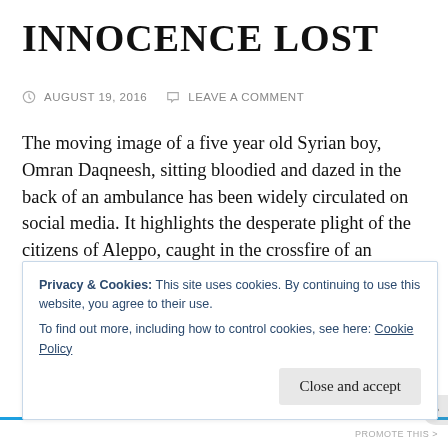INNOCENCE LOST
AUGUST 19, 2016   LEAVE A COMMENT
The moving image of a five year old Syrian boy, Omran Daqneesh, sitting bloodied and dazed in the back of an ambulance has been widely circulated on social media. It highlights the desperate plight of the citizens of Aleppo, caught in the crossfire of an increasingly violent and vicious civil war.
The image has been compared with that of Syrian
Privacy & Cookies: This site uses cookies. By continuing to use this website, you agree to their use.
To find out more, including how to control cookies, see here: Cookie Policy